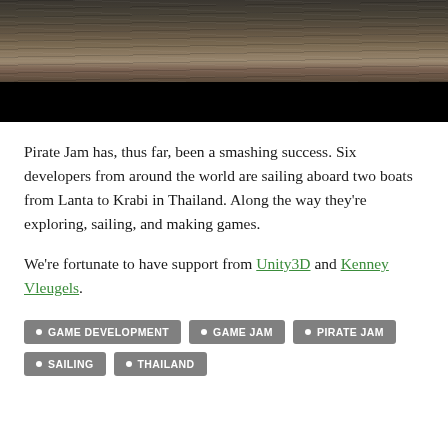[Figure (photo): Ocean water surface photograph with dark water ripples, upper portion shows water texture and lower portion is black]
Pirate Jam has, thus far, been a smashing success. Six developers from around the world are sailing aboard two boats from Lanta to Krabi in Thailand. Along the way they're exploring, sailing, and making games.
We're fortunate to have support from Unity3D and Kenney Vleugels.
GAME DEVELOPMENT
GAME JAM
PIRATE JAM
SAILING
THAILAND